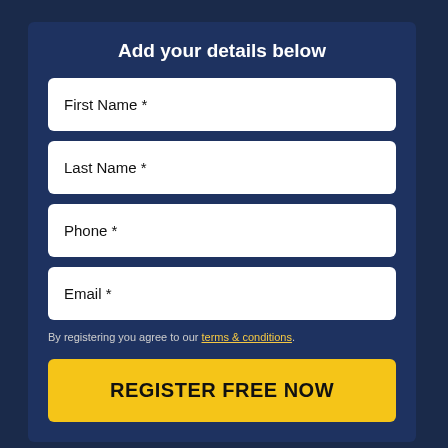Add your details below
First Name *
Last Name *
Phone *
Email *
By registering you agree to our terms & conditions.
REGISTER FREE NOW